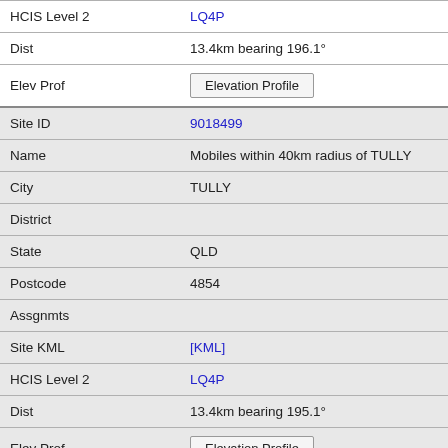| Field | Value |
| --- | --- |
| HCIS Level 2 | LQ4P |
| Dist | 13.4km bearing 196.1° |
| Elev Prof | Elevation Profile |
| Site ID | 9018499 |
| Name | Mobiles within 40km radius of TULLY |
| City | TULLY |
| District |  |
| State | QLD |
| Postcode | 4854 |
| Assgnmts |  |
| Site KML | [KML] |
| HCIS Level 2 | LQ4P |
| Dist | 13.4km bearing 195.1° |
| Elev Prof | Elevation Profile |
| Site ID | 20643 |
| Name | Telstra Radio Terminal FENBYS GAP |
| City | FENBYS GAP |